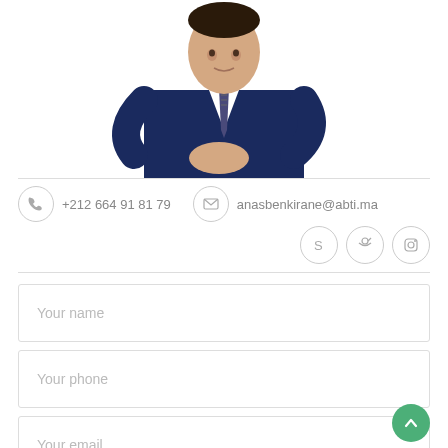[Figure (photo): Photo of a man in a navy blue suit with a striped tie, arms crossed, upper body visible against white background]
+212 664 91 81 79
anasbenkirane@abti.ma
Your name
Your phone
Your email